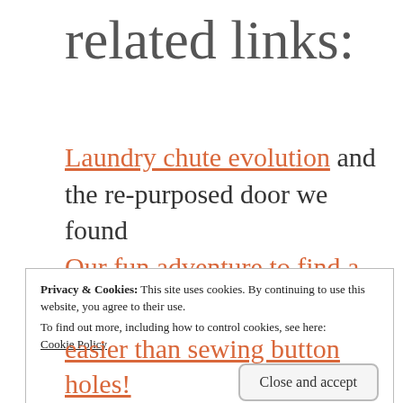related links:
Laundry chute evolution and the re-purposed door we found
Our fun adventure to find a claw foot for our claw foot tub – it was missing a foot – and we traded!
DIY project redoing the missing claw
Privacy & Cookies: This site uses cookies. By continuing to use this website, you agree to their use. To find out more, including how to control cookies, see here: Cookie Policy Close and accept
easier than sewing button holes!